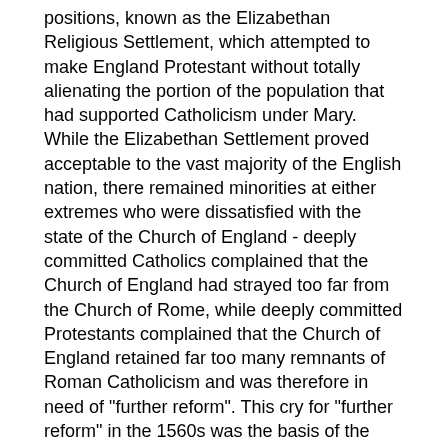positions, known as the Elizabethan Religious Settlement, which attempted to make England Protestant without totally alienating the portion of the population that had supported Catholicism under Mary. While the Elizabethan Settlement proved acceptable to the vast majority of the English nation, there remained minorities at either extremes who were dissatisfied with the state of the Church of England - deeply committed Catholics complained that the Church of England had strayed too far from the Church of Rome, while deeply committed Protestants complained that the Church of England retained far too many remnants of Roman Catholicism and was therefore in need of "further reform". This cry for "further reform" in the 1560s was the basis of the Puritan Movement.
The Church of England under Elizabeth was broadly Reformed in nature: Elizabeth's first Archbishop of Canterbury, Matthew Parker had been the executor of Martin Bucer's will, and his replacement, Edmund Grindal had carried the coffin at Bucer's funeral. During the 1560s and 1570s, the works of John Calvin were the most widely disseminated publications in England, while the works of Theodore Beza also enjoyed immense popularity. As a result, the bishops who opposed Puritanism in the sixteenth and early-seventeenth century were themselves thoroughly Calvinist.